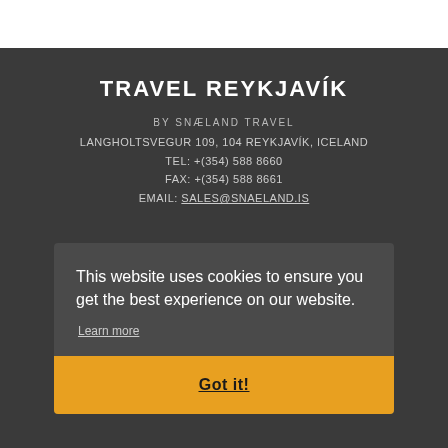TRAVEL REYKJAVÍK
BY SNÆLAND TRAVEL
LANGHOLTSVEGUR 109, 104 REYKJAVÍK, ICELAND
TEL: +(354) 588 8660
FAX: +(354) 588 8661
EMAIL: sales@snaeland.is
This website uses cookies to ensure you get the best experience on our website.
Learn more
Got it!